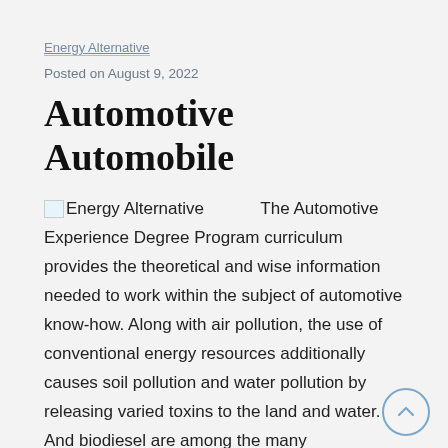Energy Alternative
Posted on August 9, 2022
Automotive Automobile
Energy Alternative   The Automotive Experience Degree Program curriculum provides the theoretical and wise information needed to work within the subject of automotive know-how. Along with air pollution, the use of conventional energy resources additionally causes soil pollution and water pollution by releasing varied toxins to the land and water. And biodiesel are among the many